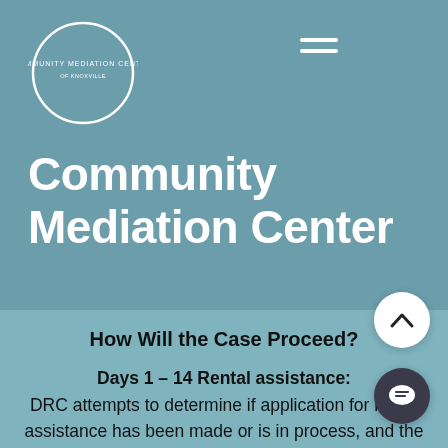[Figure (logo): Community Mediation Center logo with circular design and organization name]
Community Mediation Center
How Will the Case Proceed?
Days 1 – 14 Rental assistance: DRC attempts to determine if application for rental assistance has been made or is in process, and the timeframe for the award or non-award of assistance from any pending application.   Contact attempts: DRC strives to contact the tenant to offer ERPP services and connect the tenant to rental assistance, legal services.  Tenan